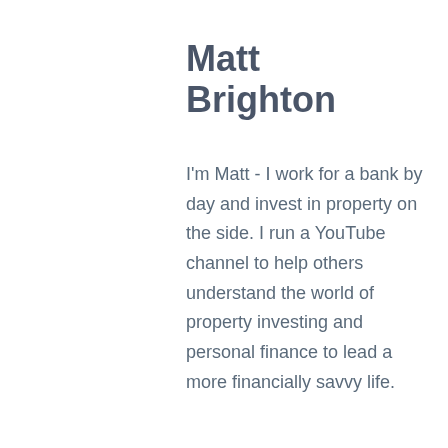Matt Brighton
I'm Matt - I work for a bank by day and invest in property on the side. I run a YouTube channel to help others understand the world of property investing and personal finance to lead a more financially savvy life.